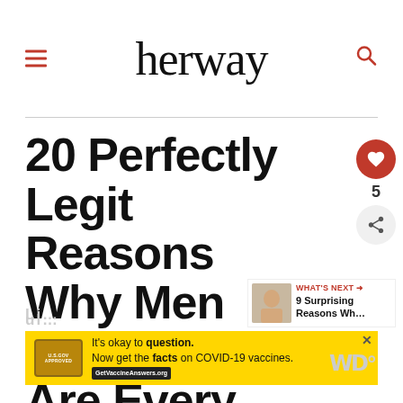herway
20 Perfectly Legit Reasons Why Men With Tattoos Are Every Girl's Dream
By: Katie Burns
[Figure (infographic): Yellow COVID-19 vaccine advertisement banner: 'It's okay to question. Now get the facts on COVID-19 vaccines. GetVaccineAnswers.org']